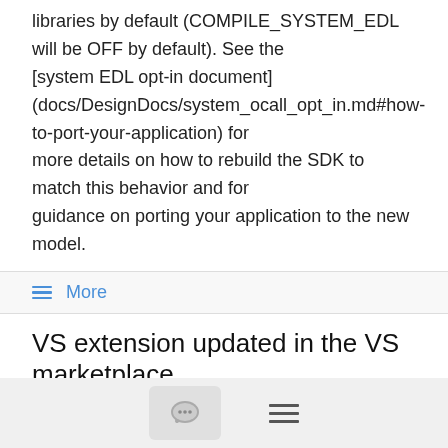libraries by default (COMPILE_SYSTEM_EDL will be OFF by default). See the [system EDL opt-in document] (docs/DesignDocs/system_ocall_opt_in.md#how-to-port-your-application) for more details on how to rebuild the SDK to match this behavior and for guidance on porting your application to the new model.
≡ More
VS extension updated in the VS marketplace
Dave Thaler   4/24/20
The Open Enclave Visual Studio extension<https://marketplace.visualstudio.com/items?itemName=MS-TCPS.OpenEnclaveSDK-VSIX> is now updated